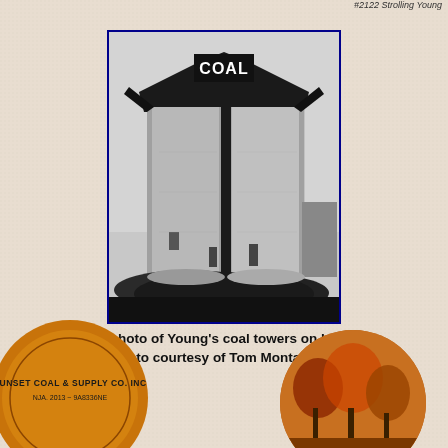#2122 Strolling Young
[Figure (photo): Black and white early photograph of Young's coal towers on Ira Road, two tall cylindrical silos with a 'COAL' sign at the top and coal debris at the base, framed with a blue border]
Early photo of Young's coal towers on Ira Road (photo courtesy of Tom Montalbano)
[Figure (photo): Partial view of an orange circular badge/button for 'SUNSET COAL & SUPPLY CO. INC' with phone number]
[Figure (photo): Partial view of an orange circular badge/button with an autumn/fall scene]